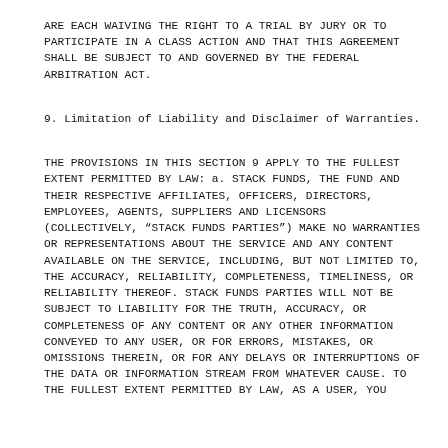ARE EACH WAIVING THE RIGHT TO A TRIAL BY JURY OR TO PARTICIPATE IN A CLASS ACTION AND THAT THIS AGREEMENT SHALL BE SUBJECT TO AND GOVERNED BY THE FEDERAL ARBITRATION ACT.
9. Limitation of Liability and Disclaimer of Warranties.
THE PROVISIONS IN THIS SECTION 9 APPLY TO THE FULLEST EXTENT PERMITTED BY LAW: a. STACK FUNDS, THE FUND AND THEIR RESPECTIVE AFFILIATES, OFFICERS, DIRECTORS, EMPLOYEES, AGENTS, SUPPLIERS AND LICENSORS (COLLECTIVELY, “STACK FUNDS PARTIES”) MAKE NO WARRANTIES OR REPRESENTATIONS ABOUT THE SERVICE AND ANY CONTENT AVAILABLE ON THE SERVICE, INCLUDING, BUT NOT LIMITED TO, THE ACCURACY, RELIABILITY, COMPLETENESS, TIMELINESS, OR RELIABILITY THEREOF. STACK FUNDS PARTIES WILL NOT BE SUBJECT TO LIABILITY FOR THE TRUTH, ACCURACY, OR COMPLETENESS OF ANY CONTENT OR ANY OTHER INFORMATION CONVEYED TO ANY USER, OR FOR ERRORS, MISTAKES, OR OMISSIONS THEREIN, OR FOR ANY DELAYS OR INTERRUPTIONS OF THE DATA OR INFORMATION STREAM FROM WHATEVER CAUSE. TO THE FULLEST EXTENT PERMITTED BY LAW, AS A USER, YOU